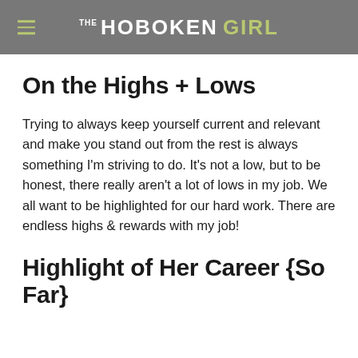THE HOBOKEN GIRL
On the Highs + Lows
Trying to always keep yourself current and relevant and make you stand out from the rest is always something I'm striving to do. It's not a low, but to be honest, there really aren't a lot of lows in my job. We all want to be highlighted for our hard work. There are endless highs & rewards with my job!
Highlight of Her Career {So Far}